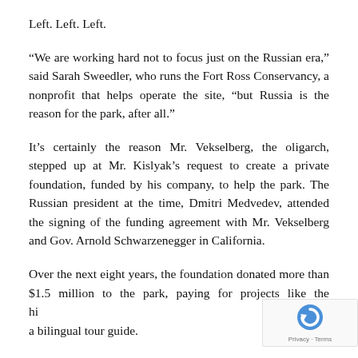Left. Left. Left.
“We are working hard not to focus just on the Russian era,” said Sarah Sweedler, who runs the Fort Ross Conservancy, a nonprofit that helps operate the site, “but Russia is the reason for the park, after all.”
It’s certainly the reason Mr. Vekselberg, the oligarch, stepped up at Mr. Kislyak’s request to create a private foundation, funded by his company, to help the park. The Russian president at the time, Dmitri Medvedev, attended the signing of the funding agreement with Mr. Vekselberg and Gov. Arnold Schwarzenegger in California.
Over the next eight years, the foundation donated more than $1.5 million to the park, paying for projects like the hi a bilingual tour guide.
[Figure (logo): reCAPTCHA badge with circular arrow logo and Privacy - Terms links]